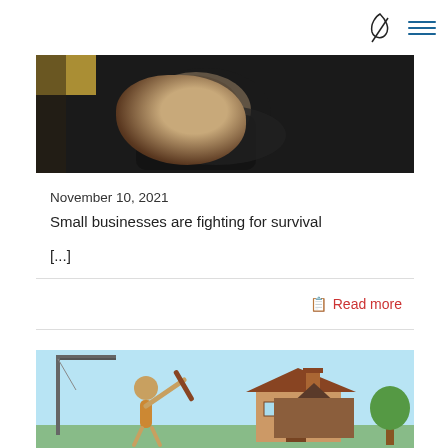[Figure (photo): Close-up photo of a person's fists wrapped in black boxing/fighting gloves, dark background with yellow visible at top left corner.]
November 10, 2021
Small businesses are fighting for survival
[...]
Read more
[Figure (illustration): Cartoon illustration showing a person swinging a bat near a house, with construction cranes visible in the background against a light blue sky.]